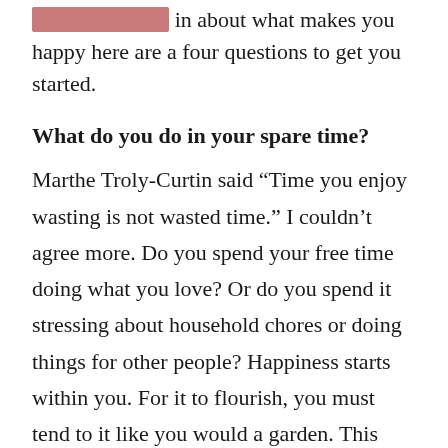if you're unsure in about what makes you happy here are a four questions to get you started.
What do you do in your spare time?
Marthe Troly-Curtin said “Time you enjoy wasting is not wasted time.” I couldn’t agree more. Do you spend your free time doing what you love? Or do you spend it stressing about household chores or doing things for other people? Happiness starts within you. For it to flourish, you must tend to it like you would a garden. This means using some of your spare time doing things you truly enjoy.